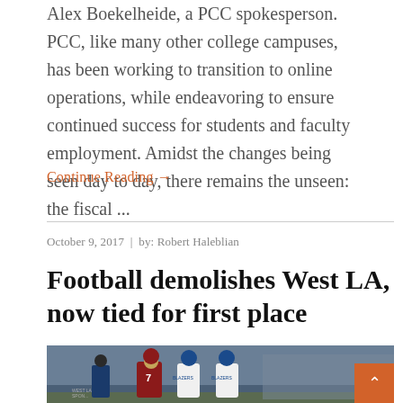Alex Boekelheide, a PCC spokesperson. PCC, like many other college campuses, has been working to transition to online operations, while endeavoring to ensure continued success for students and faculty employment. Amidst the changes being seen day to day, there remains the unseen: the fiscal ...
Continue Reading →
October 9, 2017  |  by: Robert Haleblian
Football demolishes West LA, now tied for first place
[Figure (photo): Football game photo showing players in maroon and white/blue uniforms on the field, with player number 7 visible.]